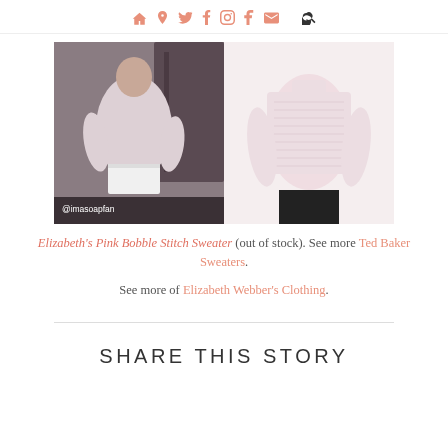Navigation icons: home, pinterest, twitter, facebook, instagram, tumblr, email, search
[Figure (photo): Side-by-side images: left shows a woman wearing a light pink bobble stitch sweater holding a white box, with @imasoapfan watermark; right shows a product photo of the same pink bobble stitch sweater on a model.]
Elizabeth's Pink Bobble Stitch Sweater (out of stock). See more Ted Baker Sweaters.
See more of Elizabeth Webber's Clothing.
SHARE THIS STORY